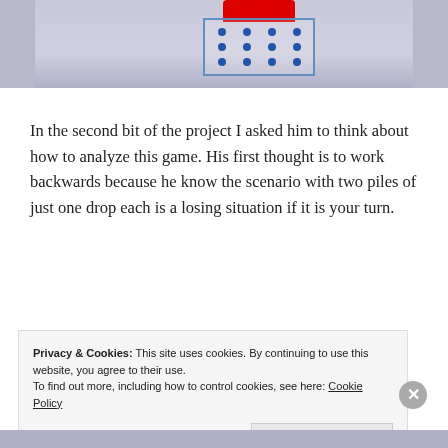[Figure (photo): Top portion of a photo showing a game board with blue dots arranged in a grid and a red piece/token at the top, on a gray surface.]
In the second bit of the project I asked him to think about how to analyze this game. His first thought is to work backwards because he know the scenario with two piles of just one drop each is a losing situation if it is your turn.
Privacy & Cookies: This site uses cookies. By continuing to use this website, you agree to their use.
To find out more, including how to control cookies, see here: Cookie Policy
Close and accept